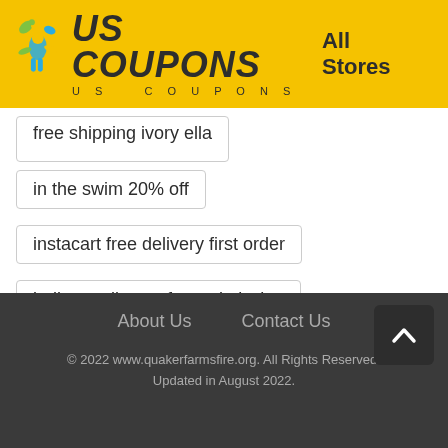US COUPONS | All Stores
free shipping ivory ella
in the swim 20% off
instacart free delivery first order
indianapolis zoo free admission
About Us   Contact Us
© 2022 www.quakerfarmsfire.org. All Rights Reserved. Updated in August 2022.